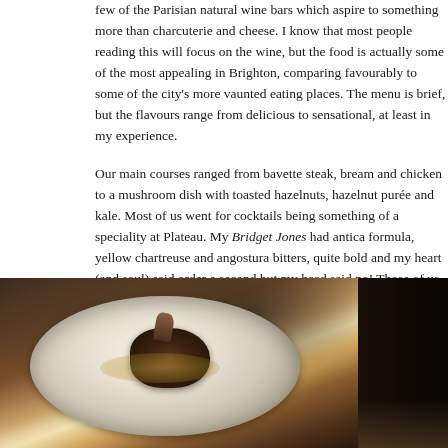few of the Parisian natural wine bars which aspire to something more than charcuterie and cheese. I know that most people reading this will focus on the wine, but the food is actually some of the most appealing in Brighton, comparing favourably to some of the city's more vaunted eating places. The menu is brief, but the flavours range from delicious to sensational, at least in my experience.
Our main courses ranged from bavette steak, bream and chicken to a mushroom dish with toasted hazelnuts, hazelnut purée and kale. Most of us went for cocktails being something of a speciality at Plateau. My Bridget Jones had antica formula, yellow chartreuse and angostura bitters, quite bold and my heart (and soul) said order a second but my head said no! Those of us who had ice cream (non-dairy, as it happens) with a salted caramel sauce did very well – unctuous alcohol is rarely a poor match.
[Figure (photo): A white plate with a piece of fish (bream) with sauce, photographed in a dark restaurant setting]
[Figure (photo): A dark, partially visible restaurant photo on the right side of the page]